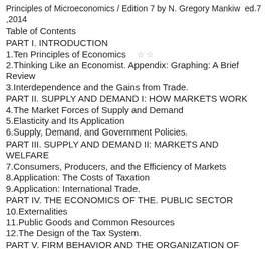Principles of Microeconomics / Edition 7 by N. Gregory Mankiw  ed.7 ,2014
Table of Contents
PART I. INTRODUCTION
1.Ten Principles of Economics
2.Thinking Like an Economist. Appendix: Graphing: A Brief Review
3.Interdependence and the Gains from Trade.
PART II. SUPPLY AND DEMAND I: HOW MARKETS WORK
4.The Market Forces of Supply and Demand
5.Elasticity and Its Application
6.Supply, Demand, and Government Policies.
PART III. SUPPLY AND DEMAND II: MARKETS AND WELFARE
7.Consumers, Producers, and the Efficiency of Markets
8.Application: The Costs of Taxation
9.Application: International Trade.
PART IV. THE ECONOMICS OF THE. PUBLIC SECTOR
10.Externalities
11.Public Goods and Common Resources
12.The Design of the Tax System.
PART V. FIRM BEHAVIOR AND THE ORGANIZATION OF